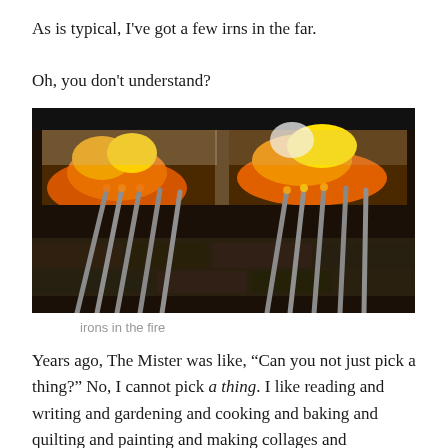As is typical, I've got a few irns in the far.
Oh, you don't understand?
[Figure (photo): Photo of metal irons/rods resting against the opening of a fireplace or forge, with fire and orange/yellow flames visible inside the chamber. The scene is dark with stone and brick surroundings.]
irons in the fire
Years ago, The Mister was like, “Can you not just pick a thing?” No, I cannot pick a thing. I like reading and writing and gardening and cooking and baking and quilting and painting and making collages and scrapbooking and DIY.